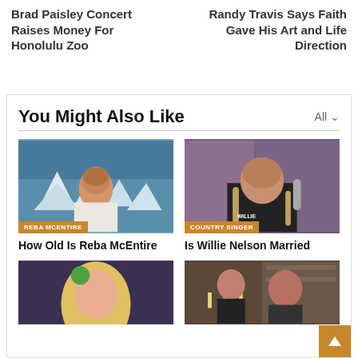Brad Paisley Concert Raises Money For Honolulu Zoo
Randy Travis Says Faith Gave His Art and Life Direction
You Might Also Like
[Figure (photo): Reba McEntire in a winter-themed setting with snowy trees background, wearing a white turtleneck sweater, label: REBA MCENTIRE]
How Old Is Reba McEntire
[Figure (photo): Willie Nelson with long braided hair wearing a black shirt, label: COUNTRY SINGER]
Is Willie Nelson Married
[Figure (photo): Dolly Parton with blonde hair and green bow, partial view]
[Figure (photo): Two people at a table with candles and shelves in background, partial view]